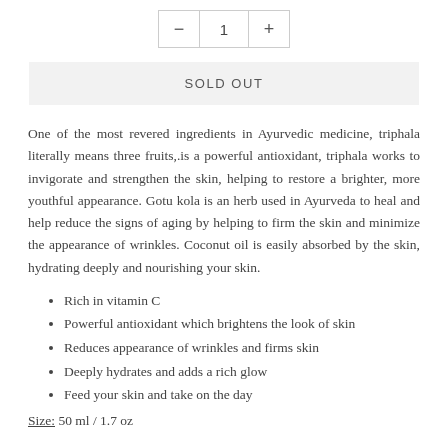- 1 +
SOLD OUT
One of the most revered ingredients in Ayurvedic medicine, triphala literally means three fruits,.is a powerful antioxidant, triphala works to invigorate and strengthen the skin, helping to restore a brighter, more youthful appearance. Gotu kola is an herb used in Ayurveda to heal and help reduce the signs of aging by helping to firm the skin and minimize the appearance of wrinkles. Coconut oil is easily absorbed by the skin, hydrating deeply and nourishing your skin.
Rich in vitamin C
Powerful antioxidant which brightens the look of skin
Reduces appearance of wrinkles and firms skin
Deeply hydrates and adds a rich glow
Feed your skin and take on the day
Size: 50 ml / 1.7 oz